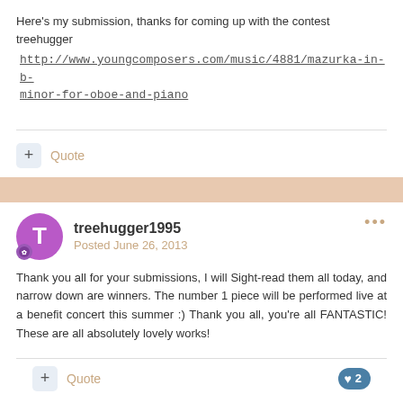Here's my submission, thanks for coming up with the contest treehugger
 http://www.youngcomposers.com/music/4881/mazurka-in-b-minor-for-oboe-and-piano
Quote
treehugger1995
Posted June 26, 2013
Thank you all for your submissions, I will Sight-read them all today, and narrow down are winners. The number 1 piece will be performed live at a benefit concert this summer :) Thank you all, you're all FANTASTIC! These are all absolutely lovely works!
Quote  2